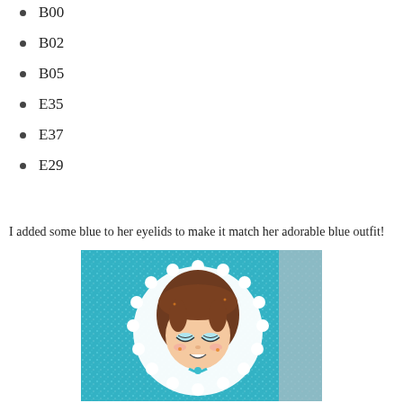B00
B02
B05
E35
E37
E29
I added some blue to her eyelids to make it match her adorable blue outfit!
[Figure (photo): Close-up photo of a cute cartoon-style illustrated girl character with brown hair, closed smiling eyes with blue eyelids, on a sparkly teal/blue glitter background with a white scalloped circle frame]